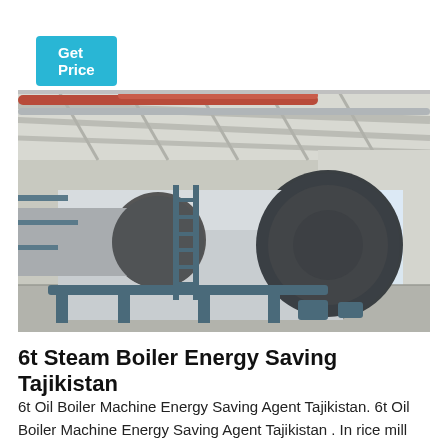Get Price
[Figure (photo): Industrial steam boiler inside a factory building. A large horizontal cylindrical silver boiler with a dark circular end cap is visible, supported on blue metal stands. Metal pipes run along the ceiling. A metal ladder leans against the boiler. The building has white walls, concrete floor, and skylights.]
6t Steam Boiler Energy Saving Tajikistan
6t Oil Boiler Machine Energy Saving Agent Tajikistan. 6t Oil Boiler Machine Energy Saving Agent Tajikistan . In rice mill